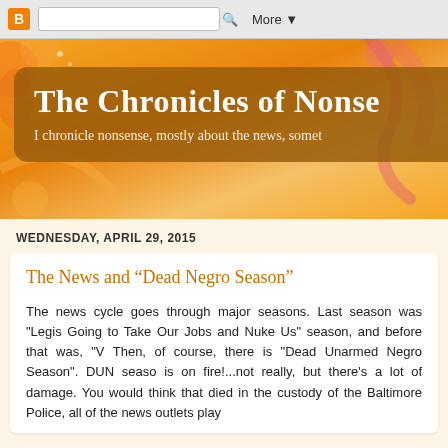[Figure (screenshot): Blogger navigation bar with blogger icon, search box, and More dropdown button]
The Chronicles of Nonse
I chronicle nonsense, mostly about the news, somet
WEDNESDAY, APRIL 29, 2015
The News and “Dead Negro Season”
The news cycle goes through major seasons. Last season was "Legis Going to Take Our Jobs and Nuke Us" season, and before that was, "V Then, of course, there is "Dead Unarmed Negro Season". DUN seaso is on fire!...not really, but there's a lot of damage. You would think that died in the custody of the Baltimore Police, all of the news outlets play